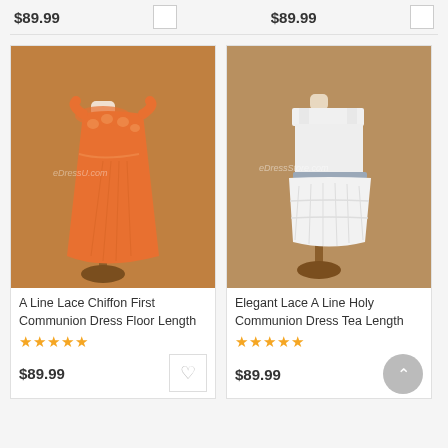$89.99
$89.99
[Figure (photo): Orange long floor-length A-line lace chiffon dress on a mannequin with a warm brown background. Watermark: eDressU.com]
A Line Lace Chiffon First Communion Dress Floor Length
★★★★★
$89.99
[Figure (photo): White tea-length lace A-line holy communion dress on a mannequin with a warm brown background. Watermark: eDressStore.com]
Elegant Lace A Line Holy Communion Dress Tea Length
★★★★★
$89.99